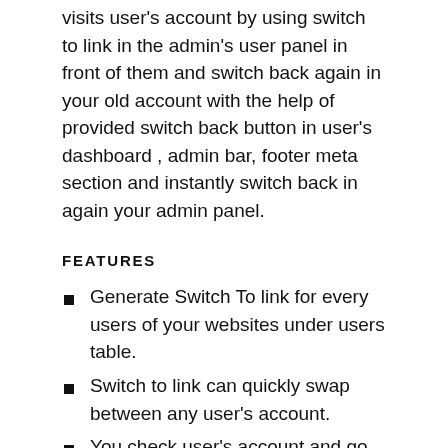visits user's account by using switch to link in the admin's user panel in front of them and switch back again in your old account with the help of provided switch back button in user's dashboard , admin bar, footer meta section and instantly switch back in again your admin panel.
FEATURES
Generate Switch To link for every users of your websites under users table.
Switch to link can quickly swap between any user's account.
You check user's account and go back in your admin account with the help of switch back button.
This plugin create switch to links only for Administrators.
This plugin implements nonce security for links in wordpress.